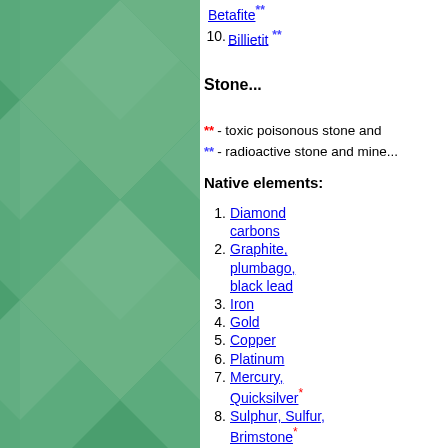[Figure (illustration): Green decorative panel with overlapping diamond/rhombus geometric pattern in lighter shades of green]
Betafite **
10. Billietit **
Sto...
** - toxic poisonous stone and...
** - radioactive stone and mine...
Native elements:
1. Diamond carbons
2. Graphite, plumbago, black lead
3. Iron
4. Gold
5. Copper
6. Platinum
7. Mercury, Quicksilver *
8. Sulphur, Sulfur, Brimstone *
9. Silver
10. Antimony, Stibium *